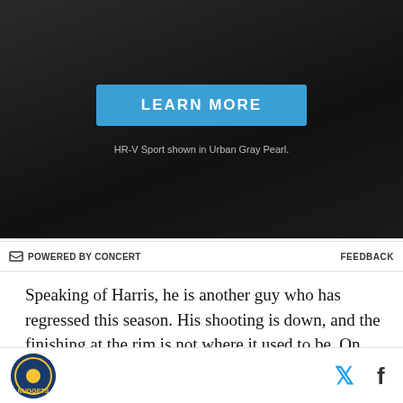[Figure (photo): Dark advertisement background with a 'LEARN MORE' blue button and text 'HR-V Sport shown in Urban Gray Pearl.']
HR-V Sport shown in Urban Gray Pearl.
⚡ POWERED BY CONCERT    FEEDBACK
Speaking of Harris, he is another guy who has regressed this season. His shooting is down, and the finishing at the rim is not where it used to be. On above-the-break threes, Harris is shooting just 25%, in the 2nd percentile league wide, according to Cleaning the Glass. Denver's best advantage in the Jokic-Murray DHO and PnR game is their ability to draw defenders into the paint. Harris hasn't been able to